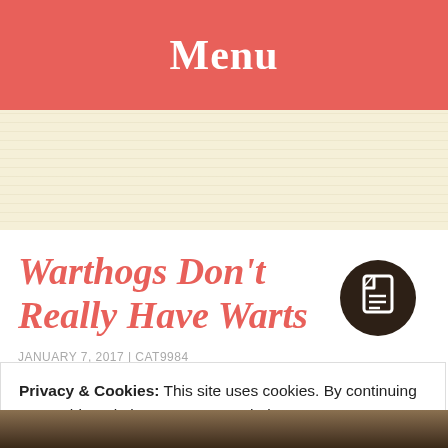Menu
[Figure (photo): Cream/tan textured banner area]
Warthogs Don't Really Have Warts
[Figure (illustration): Dark brown circular document/copy icon]
JANUARY 7, 2017 | CAT9984
Privacy & Cookies: This site uses cookies. By continuing to use this website, you agree to their use.
To find out more, including how to control cookies, see here:
Cookie Policy
Close and accept
[Figure (photo): Bottom photo strip showing a warthog]